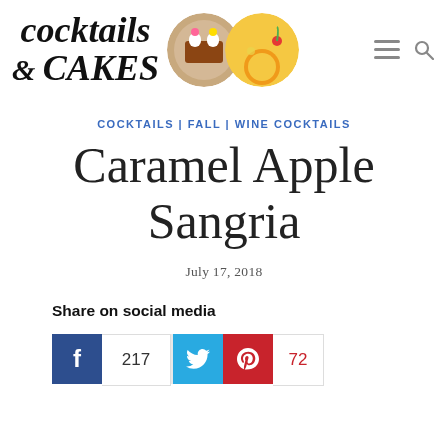[Figure (logo): Cocktails & Cakes blog logo with cursive text and two circular food photos]
COCKTAILS | FALL | WINE COCKTAILS
Caramel Apple Sangria
July 17, 2018
Share on social media
[Figure (infographic): Social share buttons: Facebook (217 shares), Twitter, Pinterest (72 shares)]